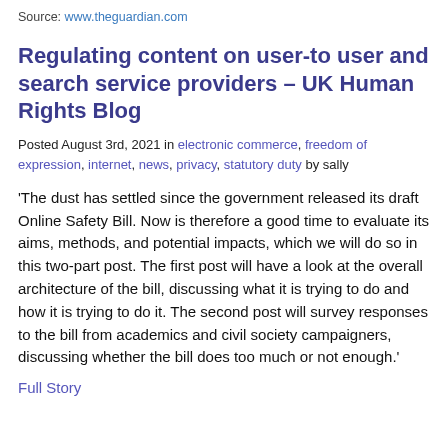Source: www.theguardian.com
Regulating content on user-to user and search service providers – UK Human Rights Blog
Posted August 3rd, 2021 in electronic commerce, freedom of expression, internet, news, privacy, statutory duty by sally
'The dust has settled since the government released its draft Online Safety Bill. Now is therefore a good time to evaluate its aims, methods, and potential impacts, which we will do so in this two-part post. The first post will have a look at the overall architecture of the bill, discussing what it is trying to do and how it is trying to do it. The second post will survey responses to the bill from academics and civil society campaigners, discussing whether the bill does too much or not enough.'
Full Story